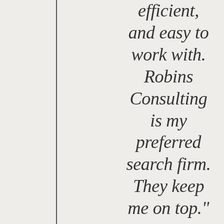efficient, and easy to work with. Robins Consulting is my preferred search firm. They keep me on top."
JIM FRANCK - President